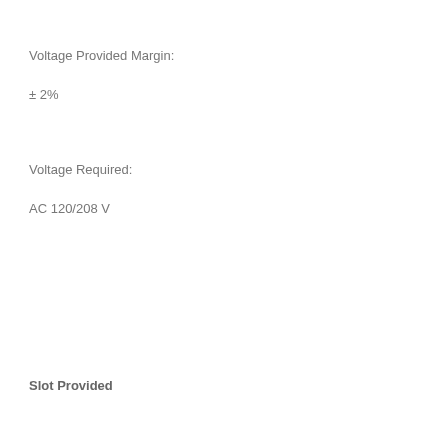Voltage Provided Margin:
± 2%
Voltage Required:
AC 120/208 V
Slot Provided